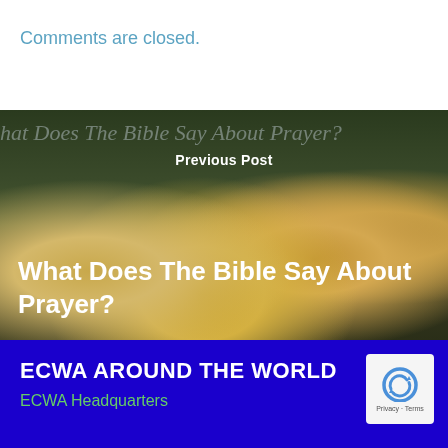Comments are closed.
[Figure (photo): Background photo of yellow/cream flowers (plumeria/frangipani) against dark green foliage, with watermark text 'hat Does The Bible Say About Prayer?' and overlaid text 'Previous Post' and 'What Does The Bible Say About Prayer?']
ECWA AROUND THE WORLD
ECWA Headquarters